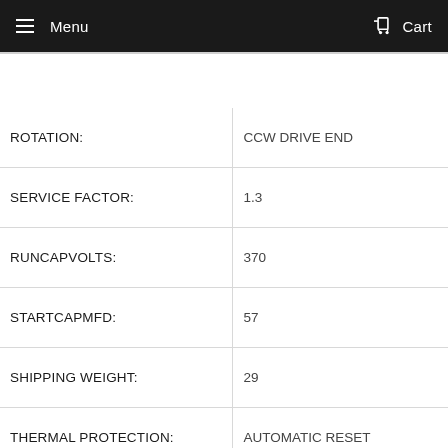Menu  Cart
| ROTATION: | CCW DRIVE END |
| SERVICE FACTOR: | 1.3 |
| RUNCAPVOLTS: | 370 |
| STARTCAPMFD: | 57 |
| SHIPPING WEIGHT: | 29 |
| THERMAL PROTECTION: | AUTOMATIC RESET |
| BREAKDOWN TORQUE UOM: | OZFT |